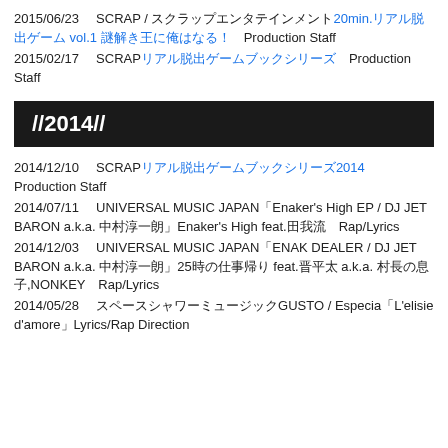2015/06/23　SCRAP / スクラップエンタテインメント20min.リアル脱出ゲーム vol.1 謎解き王に俺はなる！Production Staff
2015/02/17　SCRAPリアル脱出ゲームブックシリーズ　Production Staff
//2014//
2014/12/10　SCRAPリアル脱出ゲームブックシリーズ2014　Production Staff
2014/07/11　UNIVERSAL MUSIC JAPAN「Enaker's High EP / DJ JET BARON a.k.a. 中村淳一朗」Enaker's High feat.田我流　Rap/Lyrics
2014/12/03　UNIVERSAL MUSIC JAPAN「ENAK DEALER / DJ JET BARON a.k.a. 中村淳一朗」25時の仕事帰り feat.晋平太 a.k.a. 村長の息子,NONKEY　Rap/Lyrics
2014/05/28　スペースシャワーミュージックGUSTO / Especia「L'elisie d'amore」Lyrics/Rap Direction